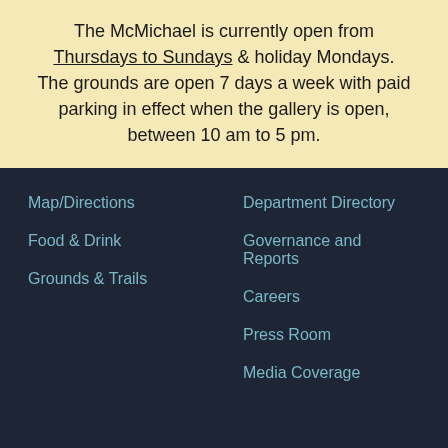The McMichael is currently open from Thursdays to Sundays & holiday Mondays. The grounds are open 7 days a week with paid parking in effect when the gallery is open, between 10 am to 5 pm.
Map/Directions
Food & Drink
Grounds & Trails
Department Directory
Governance and Reports
Careers
Press Room
Media Coverage
PRIVATE FUNCTIONS
VISITING THE GALLERY